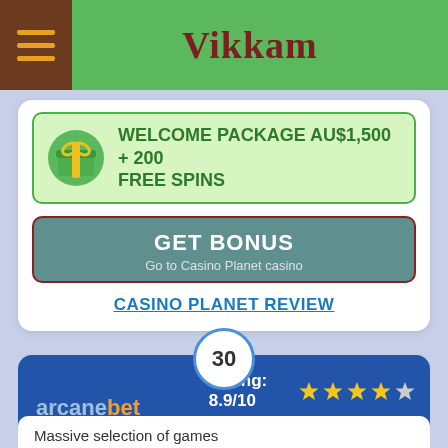Vikkam
WELCOME PACKAGE AU$1,500 + 200 FREE SPINS
GET BONUS
Go to Casino Planet casino
CASINO PLANET REVIEW
30
Rating: 8.9/10
[Figure (logo): arcanebet logo in grey and orange text]
NEW CASINO
Massive selection of games
Top software providers